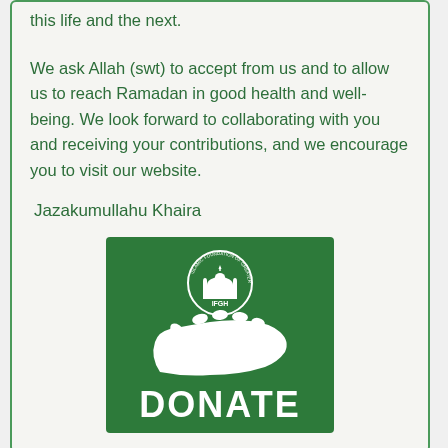this life and the next.
We ask Allah (swt) to accept from us and to allow us to reach Ramadan in good health and well-being. We look forward to collaborating with you and receiving your contributions, and we encourage you to visit our website.
Jazakumullahu Khaira
[Figure (logo): IFGH (Islamic Foundation of Greater Houston) green donate button with a white hand holding a circle logo and the word DONATE in white bold letters]